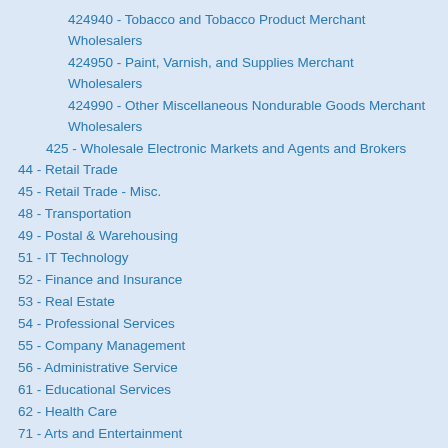424940 - Tobacco and Tobacco Product Merchant Wholesalers
424950 - Paint, Varnish, and Supplies Merchant Wholesalers
424990 - Other Miscellaneous Nondurable Goods Merchant Wholesalers
425 - Wholesale Electronic Markets and Agents and Brokers
44 - Retail Trade
45 - Retail Trade - Misc.
48 - Transportation
49 - Postal & Warehousing
51 - IT Technology
52 - Finance and Insurance
53 - Real Estate
54 - Professional Services
55 - Company Management
56 - Administrative Service
61 - Educational Services
62 - Health Care
71 - Arts and Entertainment
72 - Travel & Food Services
81 - Other Services